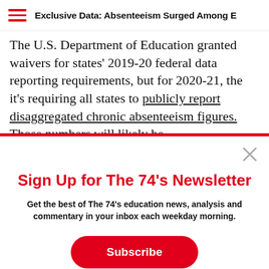Exclusive Data: Absenteeism Surged Among E…
The U.S. Department of Education granted waivers for states' 2019-20 federal data reporting requirements, but for 2020-21, the it's requiring all states to publicly report disaggregated chronic absenteeism figures. Those numbers will likely be
Sign Up for The 74's Newsletter
Get the best of The 74's education news, analysis and commentary in your inbox each weekday morning.
Subscribe